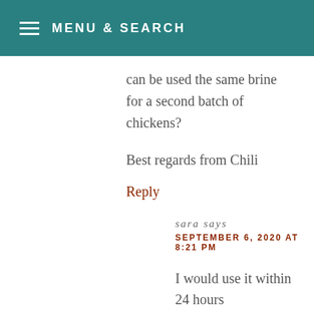MENU & SEARCH
can be used the same brine for a second batch of chickens?
Best regards from Chili
Reply
sara says
SEPTEMBER 6, 2020 AT 8:21 PM
I would use it within 24 hours
for food safety purposes!